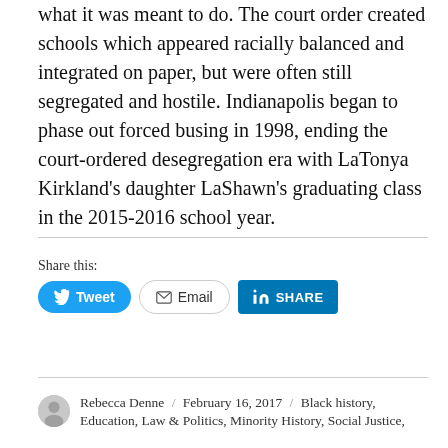what it was meant to do. The court order created schools which appeared racially balanced and integrated on paper, but were often still segregated and hostile. Indianapolis began to phase out forced busing in 1998, ending the court-ordered desegregation era with LaTonya Kirkland's daughter LaShawn's graduating class in the 2015-2016 school year.
Share this:
[Figure (other): Share buttons: Tweet (Twitter), Email, and LinkedIn Share]
Rebecca Denne / February 16, 2017 / Black history, Education, Law & Politics, Minority History, Social Justice,